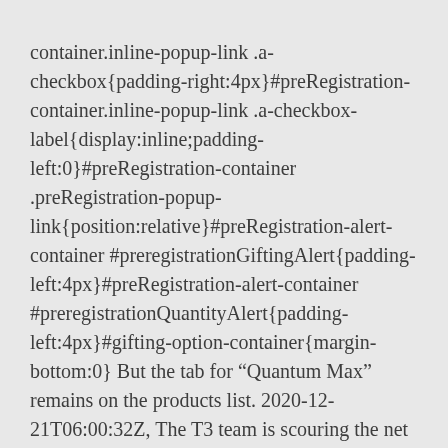container.inline-popup-link .a-checkbox{padding-right:4px}#preRegistration-container.inline-popup-link .a-checkbox-label{display:inline;padding-left:0}#preRegistration-container .preRegistration-popup-link{position:relative}#preRegistration-alert-container #preregistrationGiftingAlert{padding-left:4px}#preRegistration-alert-container #preregistrationQuantityAlert{padding-left:4px}#gifting-option-container{margin-bottom:0} But the tab for "Quantum Max" remains on the products list. 2020-12-21T06:00:32Z, The T3 team is scouring the net for the most competitive pricing for